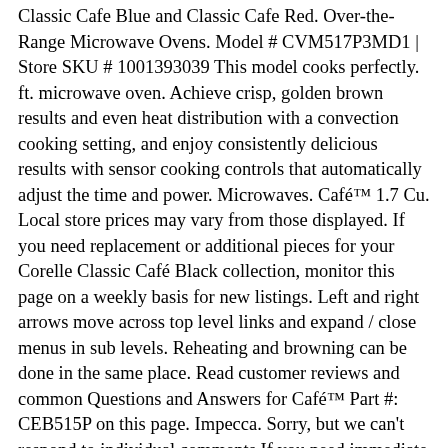Classic Cafe Blue and Classic Cafe Red. Over-the-Range Microwave Ovens. Model # CVM517P3MD1 | Store SKU # 1001393039 This model cooks perfectly. ft. microwave oven. Achieve crisp, golden brown results and even heat distribution with a convection cooking setting, and enjoy consistently delicious results with sensor cooking controls that automatically adjust the time and power. Microwaves. Café™ 1.7 Cu. Local store prices may vary from those displayed. If you need replacement or additional pieces for your Corelle Classic Café Black collection, monitor this page on a weekly basis for new listings. Left and right arrows move across top level links and expand / close menus in sub levels. Reheating and browning can be done in the same place. Read customer reviews and common Questions and Answers for Café™ Part #: CEB515P on this page. Impecca. Sorry, but we can't respond to individual comments.If you need immediate assistance, please contact Customer Care. Ft. Convection Microwave with Sensor Cooking Matte Black at Best Buy. Haven't had time to explore the scan to cook option but my kids are highly anticipating the day that they can scan a bar code and put items in the microwave to cook perfectly Café CEB1599ELDS - microwave oven with convection - freestanding - black slate overview and full product specs on CNET. We aim to show you accurate product information. Designed to add distinction and durability to your home's kitchen and living spaces, Black Slate is versatile enough to match nearly any décor, yet striking enough to command just the